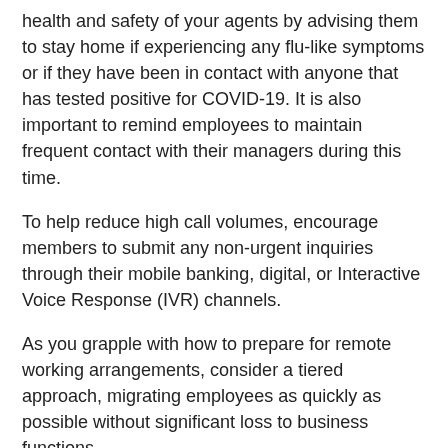health and safety of your agents by advising them to stay home if experiencing any flu-like symptoms or if they have been in contact with anyone that has tested positive for COVID-19. It is also important to remind employees to maintain frequent contact with their managers during this time.
To help reduce high call volumes, encourage members to submit any non-urgent inquiries through their mobile banking, digital, or Interactive Voice Response (IVR) channels.
As you grapple with how to prepare for remote working arrangements, consider a tiered approach, migrating employees as quickly as possible without significant loss to business functions.
For credit unions that utilize CO-OP Contact Center for lending, after-hours and member support, know that we are here for you and